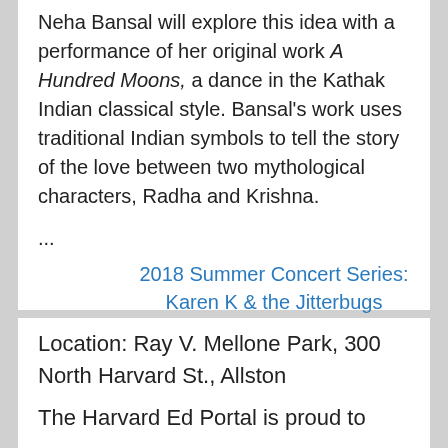Neha Bansal will explore this idea with a performance of her original work A Hundred Moons, a dance in the Kathak Indian classical style. Bansal's work uses traditional Indian symbols to tell the story of the love between two mythological characters, Radha and Krishna.
...
2018 Summer Concert Series: Karen K & the Jitterbugs
Location: Ray V. Mellone Park, 300 North Harvard St., Allston
The Harvard Ed Portal is proud to